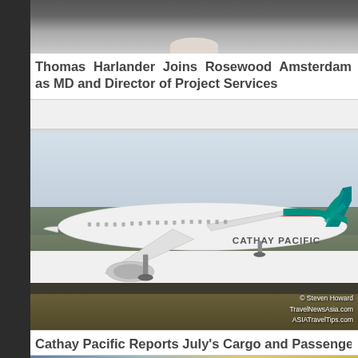[Figure (photo): Partial photo of a man in a dark pinstripe suit, upper torso and head cropped off at top of frame]
Thomas Harlander Joins Rosewood Amsterdam as MD and Director of Project Services
[Figure (photo): Cathay Pacific Airbus A330 aircraft on a runway, taxiing or preparing for takeoff. Watermark: © Steven Howard, TravelNewsAsia.com, ASIATravelTips.com]
Cathay Pacific Reports July's Cargo and Passenger Traffic
[Figure (photo): Partially visible third article photo at bottom of page]